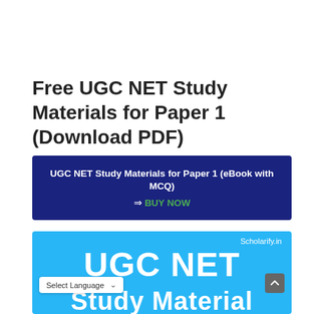Free UGC NET Study Materials for Paper 1 (Download PDF)
[Figure (infographic): Dark blue banner promoting UGC NET Study Materials for Paper 1 eBook with MCQ, with a BUY NOW call-to-action in green text.]
[Figure (infographic): Light blue image/banner showing 'UGC NET Study Material' large text on a cyan background with Scholarify.in branding, a Select Language dropdown and a scroll-to-top button.]